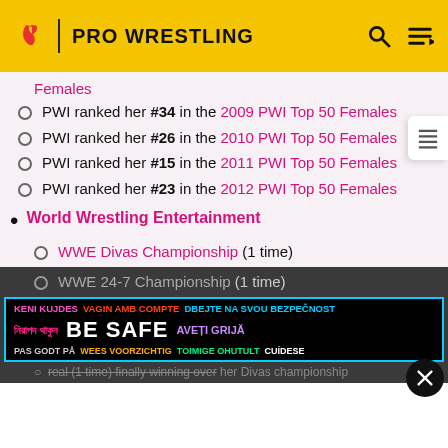PRO WRESTLING
PWI ranked her #34 in the 2009 PWI Top 50 Females
PWI ranked her #26 in the 2010 PWI Top 50 Females
PWI ranked her #15 in the 2011 PWI Top 50 Females
PWI ranked her #23 in the 2012 PWI Top 50 Females
World Wrestling Entertainment
WWE Divas Championship (1 time)
WWE 24-7 Championship (1 time)
[Figure (screenshot): BE SAFE multilingual safety banner advertisement with cyan border on black background]